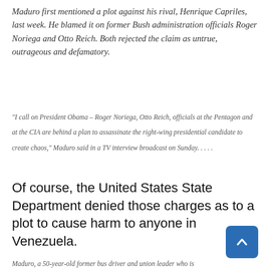Maduro first mentioned a plot against his rival, Henrique Capriles, last week. He blamed it on former Bush administration officials Roger Noriega and Otto Reich. Both rejected the claim as untrue, outrageous and defamatory.
"I call on President Obama – Roger Noriega, Otto Reich, officials at the Pentagon and at the CIA are behind a plan to assassinate the right-wing presidential candidate to create chaos," Maduro said in a TV interview broadcast on Sunday. . . . .
Of course, the United States State Department denied those charges as to a plot to cause harm to anyone in Venezuela.
Maduro, a 50-year-old former bus driver and union leader who is Chavez's preferred successor as president, said the aim of the plan was to set off a coup and that his information came from "a very good source." . . . .